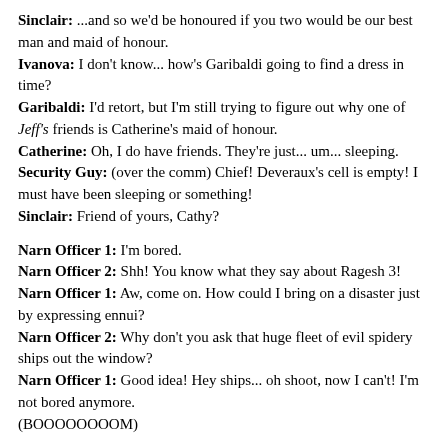Sinclair: ...and so we'd be honoured if you two would be our best man and maid of honour.
Ivanova: I don't know... how's Garibaldi going to find a dress in time?
Garibaldi: I'd retort, but I'm still trying to figure out why one of Jeff's friends is Catherine's maid of honour.
Catherine: Oh, I do have friends. They're just... um... sleeping.
Security Guy: (over the comm) Chief! Deveraux's cell is empty! I must have been sleeping or something!
Sinclair: Friend of yours, Cathy?
Narn Officer 1: I'm bored.
Narn Officer 2: Shh! You know what they say about Ragesh 3!
Narn Officer 1: Aw, come on. How could I bring on a disaster just by expressing ennui?
Narn Officer 2: Why don't you ask that huge fleet of evil spidery ships out the window?
Narn Officer 1: Good idea! Hey ships... oh shoot, now I can't! I'm not bored anymore.
(BOOOOOOOOM)
Jack: Hey, Chief. What's up?
Garibaldi: Just inspecting these crates Deveraux loaded up. Hmm... aren't these static transmitters?
Jack: You think so? They look like harmless something elses to